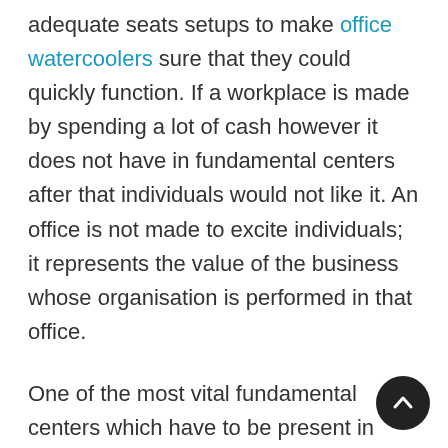adequate seats setups to make office watercoolers sure that they could quickly function. If a workplace is made by spending a lot of cash however it does not have in fundamental centers after that individuals would not like it. An office is not made to excite individuals; it represents the value of the business whose organisation is performed in that office.
One of the most vital fundamental centers which have to be present in every office is accessibility of drinking water. A large number of risk holders as well as sometimes customers go on visiting